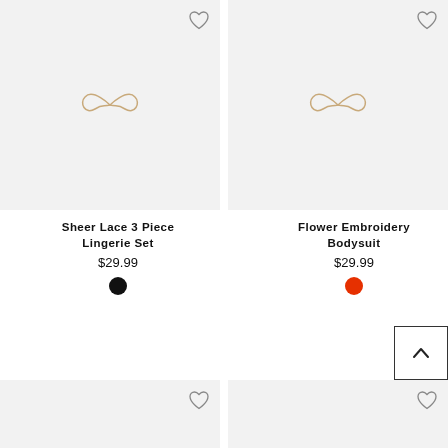[Figure (photo): Product image placeholder for Sheer Lace 3 Piece Lingerie Set, light gray background with a decorative logo mark, wishlist heart icon top right]
[Figure (photo): Product image placeholder for Flower Embroidery Bodysuit, light gray background with a decorative logo mark, wishlist heart icon top right]
Sheer Lace 3 Piece Lingerie Set
$29.99
Flower Embroidery Bodysuit
$29.99
[Figure (photo): Bottom partial product card left, gray background, wishlist heart icon top right]
[Figure (photo): Bottom partial product card right, gray background, wishlist heart icon top right]